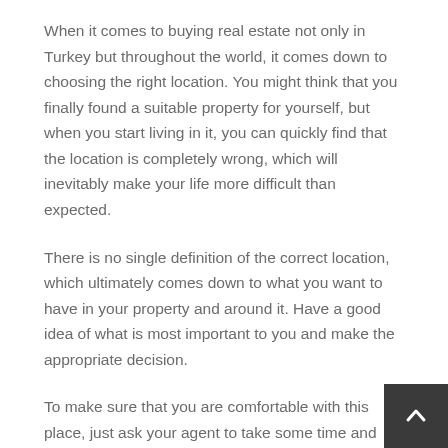When it comes to buying real estate not only in Turkey but throughout the world, it comes down to choosing the right location. You might think that you finally found a suitable property for yourself, but when you start living in it, you can quickly find that the location is completely wrong, which will inevitably make your life more difficult than expected.
There is no single definition of the correct location, which ultimately comes down to what you want to have in your property and around it. Have a good idea of what is most important to you and make the appropriate decision.
To make sure that you are comfortable with this place, just ask your agent to take some time and visit the nearby surroundings of the complex. Does public transport matter to you? Ask to see exactly where … Do you need a pharmacy nearby? Go and see where it is …